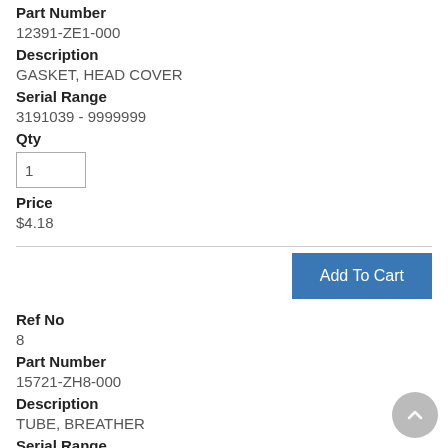Part Number
12391-ZE1-000
Description
GASKET, HEAD COVER
Serial Range
3191039 - 9999999
Qty
Price
$4.18
Add To Cart
Ref No
8
Part Number
15721-ZH8-000
Description
TUBE, BREATHER
Serial Range